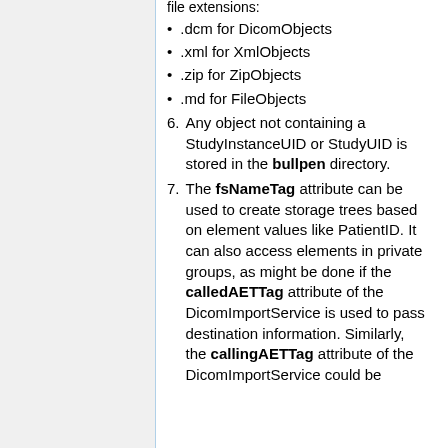.dcm for DicomObjects
.xml for XmlObjects
.zip for ZipObjects
.md for FileObjects
Any object not containing a StudyInstanceUID or StudyUID is stored in the bullpen directory.
The fsNameTag attribute can be used to create storage trees based on element values like PatientID. It can also access elements in private groups, as might be done if the calledAETTag attribute of the DicomImportService is used to pass destination information. Similarly, the callingAETTag attribute of the DicomImportService could be